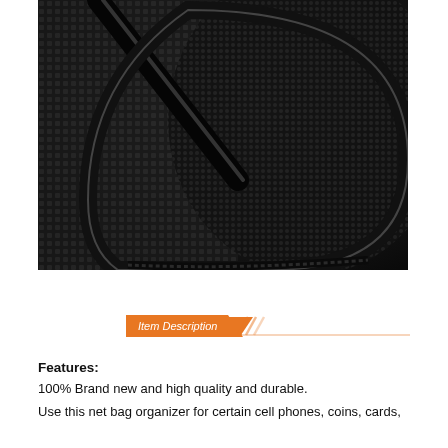[Figure (photo): Close-up photo of a black mesh/nylon net bag organizer showing the fabric texture and rounded edge with stitched border detail.]
Item Description
Features:
100% Brand new and high quality and durable.
Use this net bag organizer for certain cell phones, coins, cards,